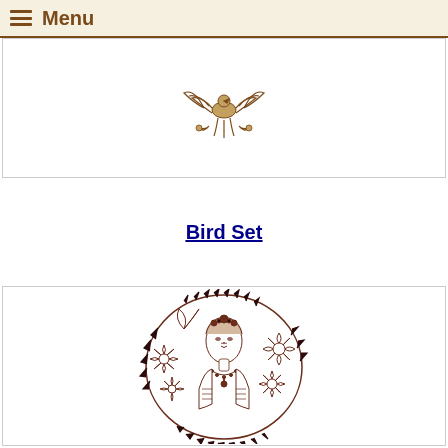≡ Menu
[Figure (illustration): Partial view of a decorative bird embroidery illustration at the top of the page]
Bird Set
[Figure (illustration): Circular embroidery design featuring a woman with floral crown and necklace surrounded by flowers and leaf border, drawn in brown/dark red outlines]